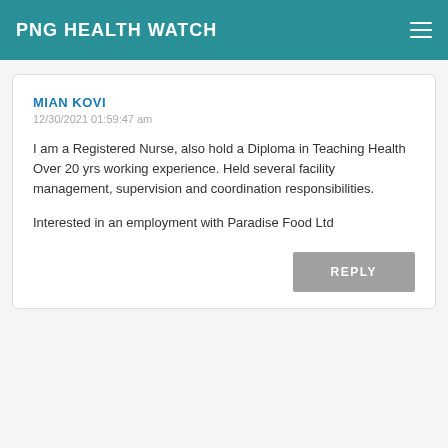PNG HEALTH WATCH
MIAN KOVI
12/30/2021 01:59:47 am
I am a Registered Nurse, also hold a Diploma in Teaching Health
Over 20 yrs working experience. Held several facility management, supervision and coordination responsibilities.
Interested in an employment with Paradise Food Ltd